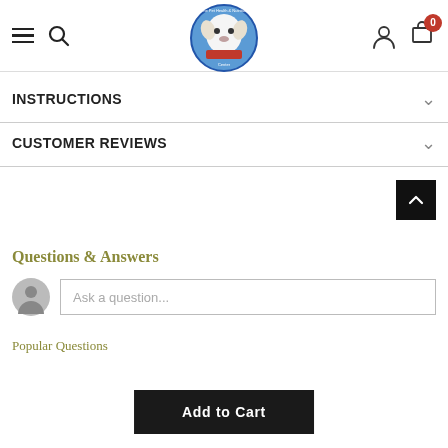The Pet Health & Nutrition Center — Navigation header with hamburger menu, search, logo, user icon, cart (0)
INSTRUCTIONS
CUSTOMER REVIEWS
Questions & Answers
Ask a question...
Popular Questions
Add to Cart